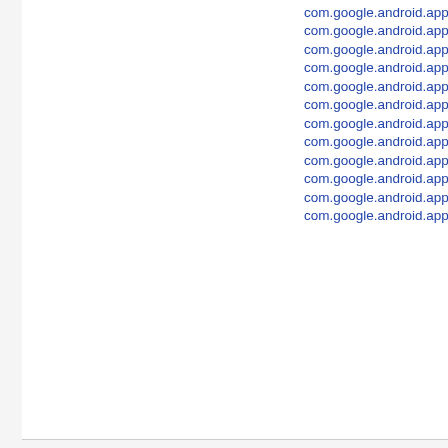com.google.android.apps.au
com.google.android.apps.au
com.google.android.apps.au
com.google.android.apps.au
com.google.android.apps.au
com.google.android.apps.au
com.google.android.apps.au
com.google.android.apps.au
com.google.android.apps.au
com.google.android.apps.au
com.google.android.apps.au
com.google.android.apps.au